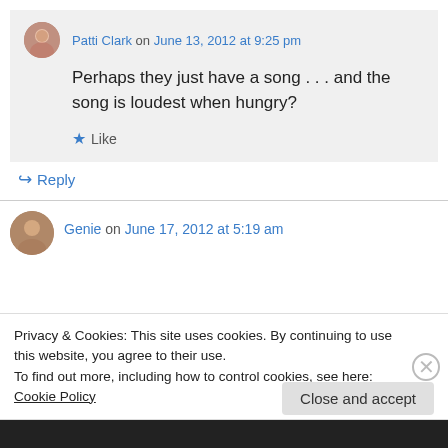Patti Clark on June 13, 2012 at 9:25 pm
Perhaps they just have a song . . . and the song is loudest when hungry?
Like
Reply
Genie on June 17, 2012 at 5:19 am
Privacy & Cookies: This site uses cookies. By continuing to use this website, you agree to their use.
To find out more, including how to control cookies, see here: Cookie Policy
Close and accept